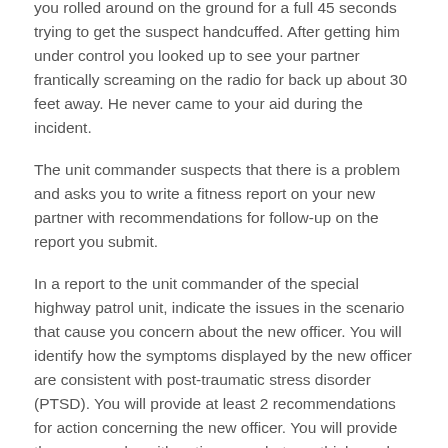you rolled around on the ground for a full 45 seconds trying to get the suspect handcuffed. After getting him under control you looked up to see your partner frantically screaming on the radio for back up about 30 feet away. He never came to your aid during the incident.
The unit commander suspects that there is a problem and asks you to write a fitness report on your new partner with recommendations for follow-up on the report you submit.
In a report to the unit commander of the special highway patrol unit, indicate the issues in the scenario that cause you concern about the new officer. You will identify how the symptoms displayed by the new officer are consistent with post-traumatic stress disorder (PTSD). You will provide at least 2 recommendations for action concerning the new officer. You will provide the commander with options on what you think can be done to prevent this type of